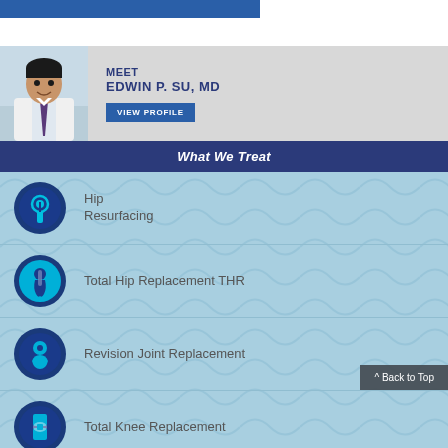[Figure (screenshot): Top blue bar partial screenshot element]
[Figure (photo): Doctor Edwin P. Su, MD in white coat smiling, meet banner with VIEW PROFILE button]
What We Treat
Hip Resurfacing
Total Hip Replacement THR
Revision Joint Replacement
Total Knee Replacement